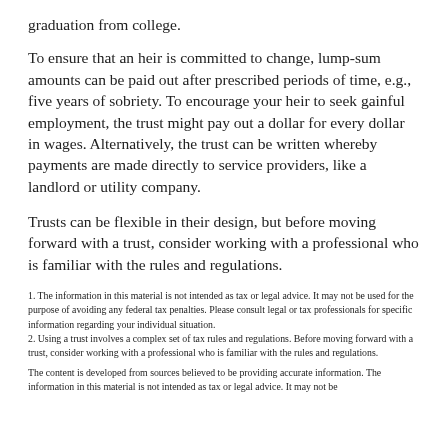graduation from college.
To ensure that an heir is committed to change, lump-sum amounts can be paid out after prescribed periods of time, e.g., five years of sobriety. To encourage your heir to seek gainful employment, the trust might pay out a dollar for every dollar in wages. Alternatively, the trust can be written whereby payments are made directly to service providers, like a landlord or utility company.
Trusts can be flexible in their design, but before moving forward with a trust, consider working with a professional who is familiar with the rules and regulations.
1. The information in this material is not intended as tax or legal advice. It may not be used for the purpose of avoiding any federal tax penalties. Please consult legal or tax professionals for specific information regarding your individual situation.
2. Using a trust involves a complex set of tax rules and regulations. Before moving forward with a trust, consider working with a professional who is familiar with the rules and regulations.
The content is developed from sources believed to be providing accurate information. The information in this material is not intended as tax or legal advice. It may not be